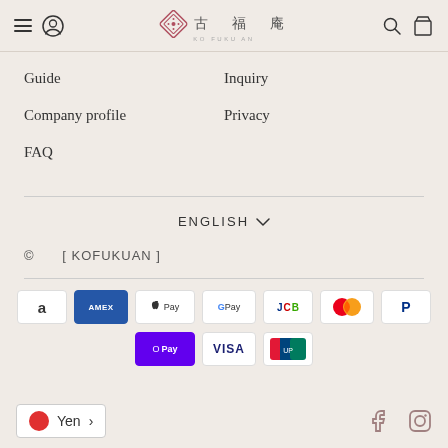古福庵 KO FUKU AN — Header with hamburger, user icon, search, cart
Guide
Inquiry
Company profile
Privacy
FAQ
ENGLISH ∨
© [ KOFUKUAN ]
[Figure (logo): Payment method logos: Amazon, Amex, Apple Pay, Google Pay, JCB, Mastercard, PayPal, OPay, VISA, UnionPay]
Yen >
[Figure (logo): Social media icons: Facebook and Instagram]